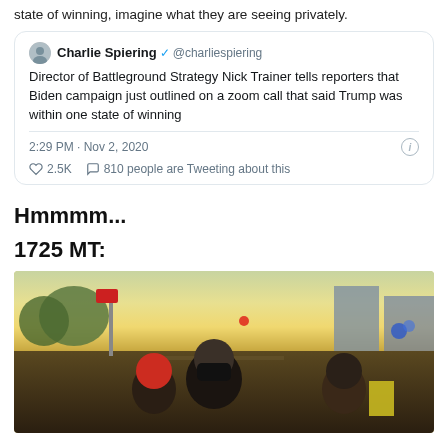state of winning, imagine what they are seeing privately.
[Figure (screenshot): Embedded tweet from Charlie Spiering (@charliespiering) verified account: 'Director of Battleground Strategy Nick Trainer tells reporters that Biden campaign just outlined on a zoom call that said Trump was within one state of winning'. Posted 2:29 PM · Nov 2, 2020. 2.5K likes, 810 people are Tweeting about this.]
Hmmmm...
1725 MT:
[Figure (photo): Street scene photo showing a crowd of people on a city street at dusk/evening. A person in a red beanie hat and a person in a black face mask are visible in the foreground. City buildings and trees visible in the background with warm golden light.]